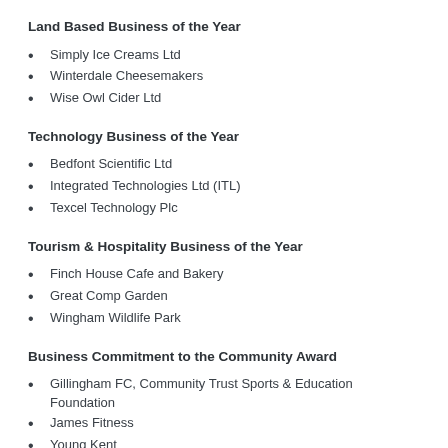Land Based Business of the Year
Simply Ice Creams Ltd
Winterdale Cheesemakers
Wise Owl Cider Ltd
Technology Business of the Year
Bedfont Scientific Ltd
Integrated Technologies Ltd (ITL)
Texcel Technology Plc
Tourism & Hospitality Business of the Year
Finch House Cafe and Bakery
Great Comp Garden
Wingham Wildlife Park
Business Commitment to the Community Award
Gillingham FC, Community Trust Sports & Education Foundation
James Fitness
Young Kent